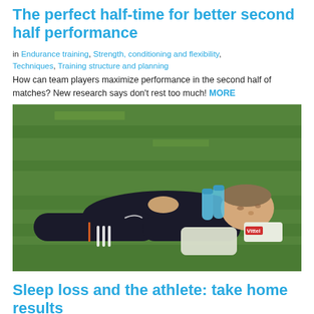The perfect half-time for better second half performance
in Endurance training, Strength, conditioning and flexibility, Techniques, Training structure and planning
How can team players maximize performance in the second half of matches? New research says don't rest too much! MORE
[Figure (photo): A football player lying on his back on green grass, resting with hands clasped on his chest. Water bottles and a bag are visible beside him. He is wearing a dark tracksuit with Adidas stripes. A Vittel branded bag is nearby.]
Sleep loss and the athlete: take home results